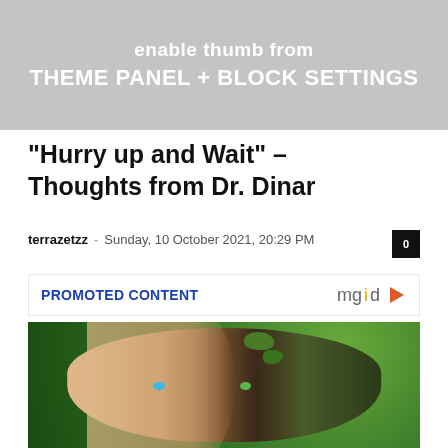[Figure (screenshot): Gray banner with white bold text: 'enable thumb from' on top line and 'THEME PANEL + BLOCK SETTINGS' on second line]
“Hurry up and Wait” – Thoughts from Dr. Dinar
terrazetzz – Sunday, 10 October 2021, 20:29 PM  [0]
PROMOTED CONTENT   mgid ▷
[Figure (photo): A creative photo of a man's face where the left half is normal human skin and the right half is transformed into a tree/nature face with bark texture, moss, and green tones. The left eye is bright blue, the right eye is green. Background is blurred green foliage.]